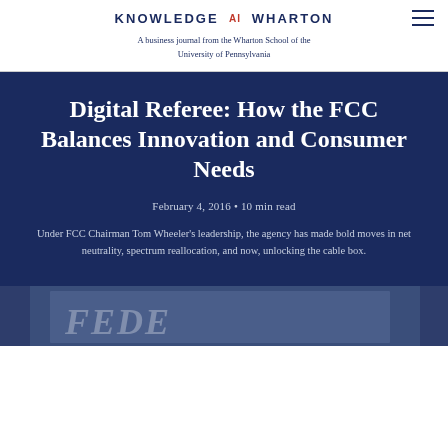KNOWLEDGE AT WHARTON
A business journal from the Wharton School of the University of Pennsylvania
Digital Referee: How the FCC Balances Innovation and Consumer Needs
February 4, 2016 • 10 min read
Under FCC Chairman Tom Wheeler's leadership, the agency has made bold moves in net neutrality, spectrum reallocation, and now, unlocking the cable box.
[Figure (photo): Bottom portion of an outdoor building sign showing partial text starting with 'F', likely an FCC or Federal building sign, photographed from below against a sky background.]